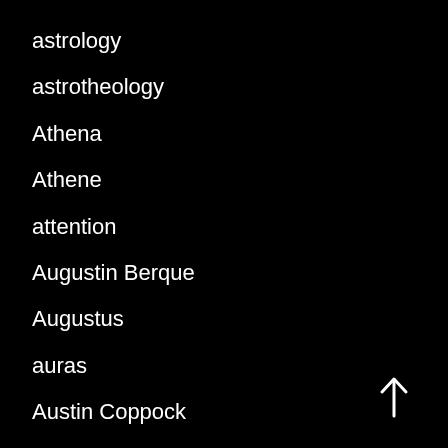astrology
astrotheology
Athena
Athene
attention
Augustin Berque
Augustus
auras
Austin Coppock
Austin O Spare
Australia
authority